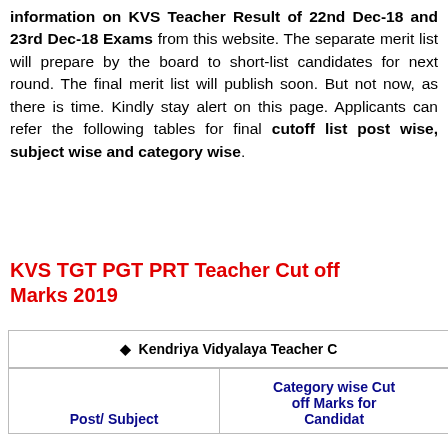information on KVS Teacher Result of 22nd Dec-18 and 23rd Dec-18 Exams from this website. The separate merit list will prepare by the board to short-list candidates for next round. The final merit list will publish soon. But not now, as there is time. Kindly stay alert on this page. Applicants can refer the following tables for final cutoff list post wise, subject wise and category wise.
KVS TGT PGT PRT Teacher Cut off Marks 2019
| Post/ Subject | Category wise Cut off Marks for Candidates |
| --- | --- |